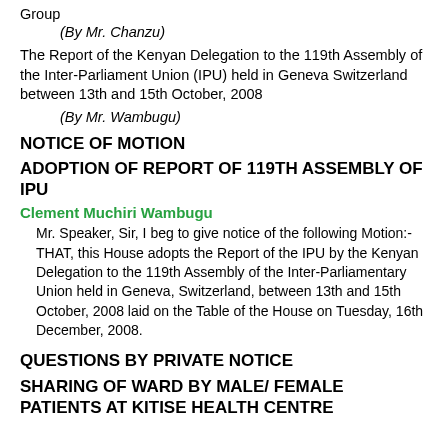Group
(By Mr. Chanzu)
The Report of the Kenyan Delegation to the 119th Assembly of the Inter-Parliament Union (IPU) held in Geneva Switzerland between 13th and 15th October, 2008
(By Mr. Wambugu)
NOTICE OF MOTION
ADOPTION OF REPORT OF 119TH ASSEMBLY OF IPU
Clement Muchiri Wambugu
Mr. Speaker, Sir, I beg to give notice of the following Motion:- THAT, this House adopts the Report of the IPU by the Kenyan Delegation to the 119th Assembly of the Inter-Parliamentary Union held in Geneva, Switzerland, between 13th and 15th October, 2008 laid on the Table of the House on Tuesday, 16th December, 2008.
QUESTIONS BY PRIVATE NOTICE
SHARING OF WARD BY MALE/ FEMALE PATIENTS AT KITISE HEALTH CENTRE